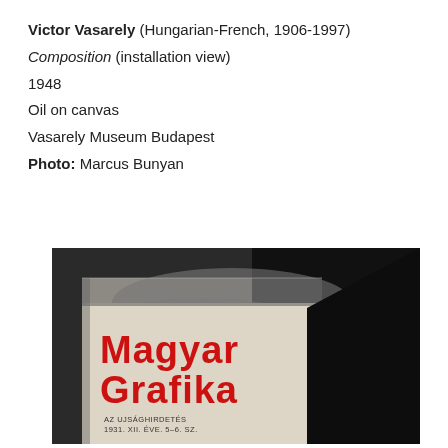Victor Vasarely (Hungarian-French, 1906-1997)
Composition (installation view)
1948
Oil on canvas
Vasarely Museum Budapest
Photo: Marcus Bunyan
[Figure (photo): Photograph of a vintage magazine cover titled 'Magyar Grafika' with large bold red text on a dark grey/black and light background. Bottom text reads 'AZ UJSÁGHIRDETÉS 1931. XII. ÉVE. 5–6. SZ.']